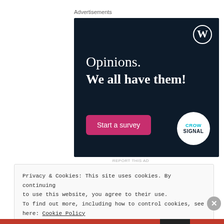Advertisements
[Figure (illustration): WordPress advertisement banner with dark navy background showing 'Opinions. We all have them!' text, a WordPress logo (W in circle) top right, a pink 'Start a survey' button bottom left, and Crowdsignal logo bottom right.]
REPORT THIS AD
Privacy & Cookies: This site uses cookies. By continuing to use this website, you agree to their use. To find out more, including how to control cookies, see here: Cookie Policy
Close and accept